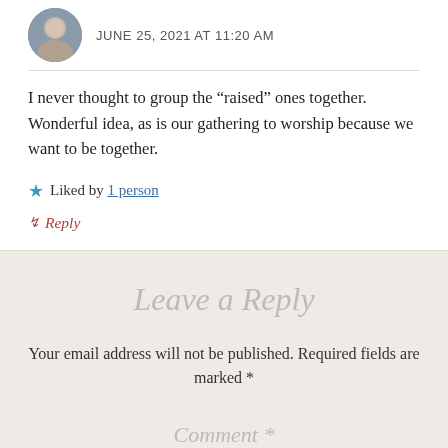JUNE 25, 2021 AT 11:20 AM
I never thought to group the “raised” ones together. Wonderful idea, as is our gathering to worship because we want to be together.
★ Liked by 1 person
↷ Reply
Leave a Reply
Your email address will not be published. Required fields are marked *
Comment *